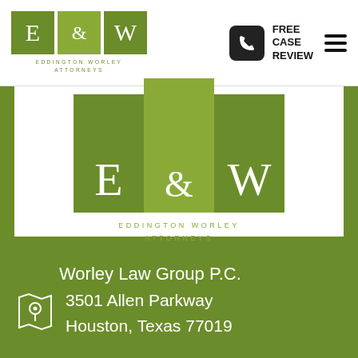[Figure (logo): Eddington Worley Attorneys logo - header size with three green boxes containing E, &, W letters]
FREE CASE REVIEW
[Figure (logo): Eddington Worley Attorneys large logo with three vertical green rectangles containing E, &, W letters]
Worley Law Group P.C.
3501 Allen Parkway
Houston, Texas 77019